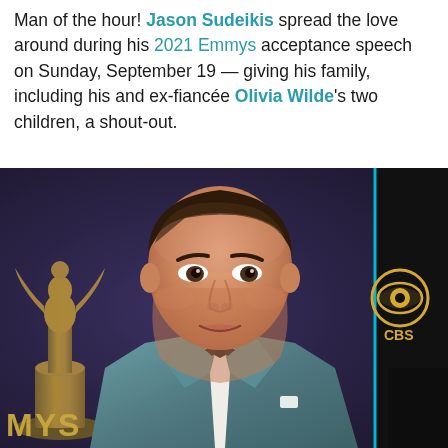Man of the hour! Jason Sudeikis spread the love around during his 2021 Emmys acceptance speech on Sunday, September 19 — giving his family, including his and ex-fiancée Olivia Wilde's two children, a shout-out.
[Figure (photo): Jason Sudeikis in a teal velvet suit with black bow tie at the 2021 Emmy Awards red carpet, with CBS logo visible in the background.]